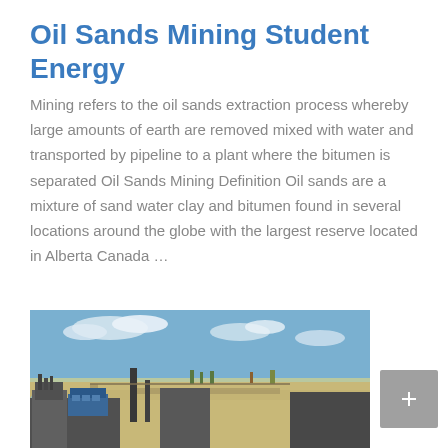Oil Sands Mining Student Energy
Mining refers to the oil sands extraction process whereby large amounts of earth are removed mixed with water and transported by pipeline to a plant where the bitumen is separated Oil Sands Mining Definition Oil sands are a mixture of sand water clay and bitumen found in several locations around the globe with the largest reserve located in Alberta Canada …
[Figure (photo): Aerial view of an oil sands mining facility showing industrial equipment, buildings with smokestacks, flat arid landscape, and a blue sky with clouds in the background.]